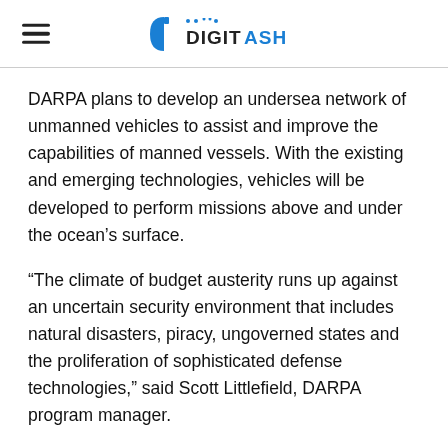DIGITASH
DARPA plans to develop an undersea network of unmanned vehicles to assist and improve the capabilities of manned vessels. With the existing and emerging technologies, vehicles will be developed to perform missions above and under the ocean’s surface.
“The climate of budget austerity runs up against an uncertain security environment that includes natural disasters, piracy, ungoverned states and the proliferation of sophisticated defense technologies,” said Scott Littlefield, DARPA program manager.
“An unmanned technology infrastructure staged below the oceans’ surface could relieve some of that resource strain and expand military capabilities in this increasingly challenging environment.”